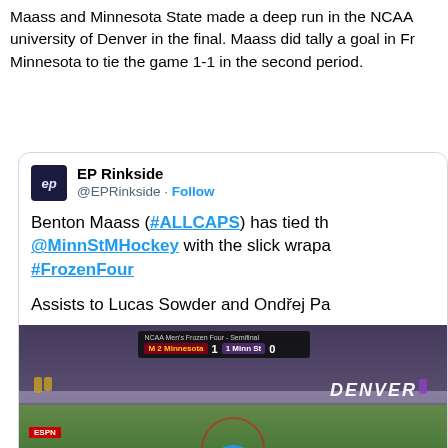Maass and Minnesota State made a deep run in the NCAA university of Denver in the final. Maass did tally a goal in Fr Minnesota to tie the game 1-1 in the second period.
[Figure (screenshot): Embedded tweet from @EPRinkside showing Benton Maass tying the game with a wraparound goal in the Frozen Four, with a video screenshot of the NCAA hockey game scoreboard showing 2 Minnesota 1, 1 Minn St 0]